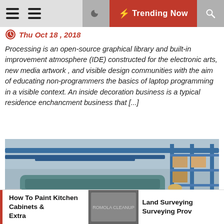Trending Now
Thu Oct 18, 2018
Processing is an open-source graphical library and built-in improvement atmosphere (IDE) constructed for the electronic arts, new media artwork , and visible design communities with the aim of educating non-programmers the basics of laptop programming in a visible context. An inside decoration business is a typical residence enchancment business that [...]
[Figure (photo): Worker bending over a large teal industrial container (marked T20) in a warehouse/industrial setting with blue shelving racks in the background.]
How To Paint Kitchen Cabinets & Extra
Land Surveying Surveying Prov